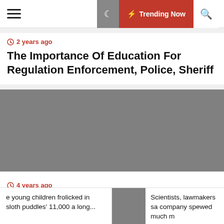Trending Now
2 years ago
The Importance Of Education For Regulation Enforcement, Police, Sheriff
[Figure (photo): Gray placeholder image for article]
4 years ago
The Ohio Distance & Digital Studying Academy
e young children frolicked in sloth puddles' 11,000 a long...
Scientists, lawmakers sa company spewed much m